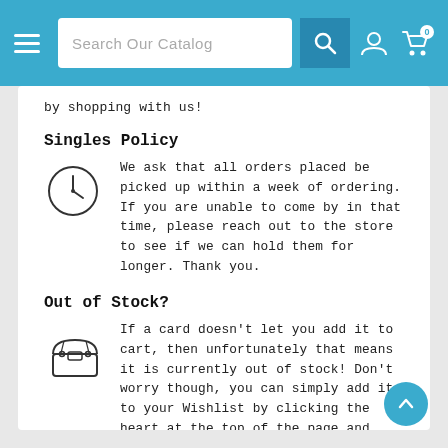Search Our Catalog — navigation bar with hamburger menu, search box, user and cart icons
by shopping with us!
Singles Policy
We ask that all orders placed be picked up within a week of ordering. If you are unable to come by in that time, please reach out to the store to see if we can hold them for longer. Thank you.
Out of Stock?
If a card doesn't let you add it to cart, then unfortunately that means it is currently out of stock! Don't worry though, you can simply add it to your Wishlist by clicking the heart at the top of the page and come back later!